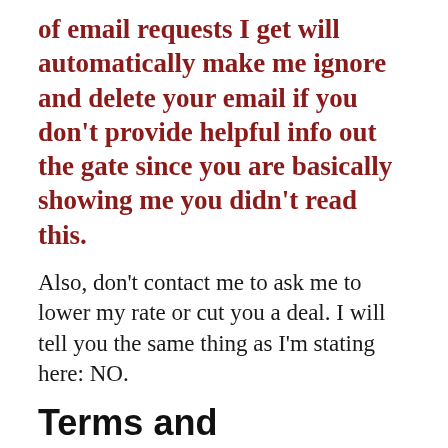of email requests I get will automatically make me ignore and delete your email if you don't provide helpful info out the gate since you are basically showing me you didn't read this.
Also, don't contact me to ask me to lower my rate or cut you a deal. I will tell you the same thing as I'm stating here: NO.
Terms and Conditions
I do not take future royalty as payment. This is a paid-for-work service. I am not interested in doing a royalty split/share due to the